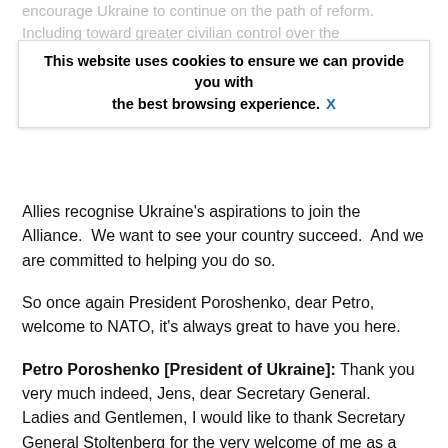encourage Ukraine to continue on the path of reform. Including toward greater civilian control over the security and intelligence sector, tackling corruption and minority rights.
This website uses cookies to ensure we can provide you with the best browsing experience. X
Allies recognise Ukraine's aspirations to join the Alliance.  We want to see your country succeed.  And we are committed to helping you do so.
So once again President Poroshenko, dear Petro, welcome to NATO, it's always great to have you here.
Petro Poroshenko [President of Ukraine]: Thank you very much indeed, Jens, dear Secretary General.  Ladies and Gentlemen, I would like to thank Secretary General Stoltenberg for the very welcome of me as a President of Ukraine, my Delegation, and today timely meeting and very constructive dialogue.  We discuss lots of point, agenda of our cooperation is very wide and we have a very positive decision.  Definitely, the deteriorating security situation in the Black Sea was in the centre of our discussion today and we have